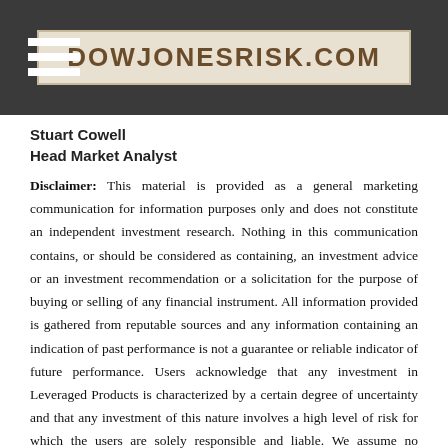DOWJONESRISK.COM
Stuart Cowell
Head Market Analyst
Disclaimer: This material is provided as a general marketing communication for information purposes only and does not constitute an independent investment research. Nothing in this communication contains, or should be considered as containing, an investment advice or an investment recommendation or a solicitation for the purpose of buying or selling of any financial instrument. All information provided is gathered from reputable sources and any information containing an indication of past performance is not a guarantee or reliable indicator of future performance. Users acknowledge that any investment in Leveraged Products is characterized by a certain degree of uncertainty and that any investment of this nature involves a high level of risk for which the users are solely responsible and liable. We assume no liability for any loss arising from any investment made based on the information provided in this communication. This communication must not be